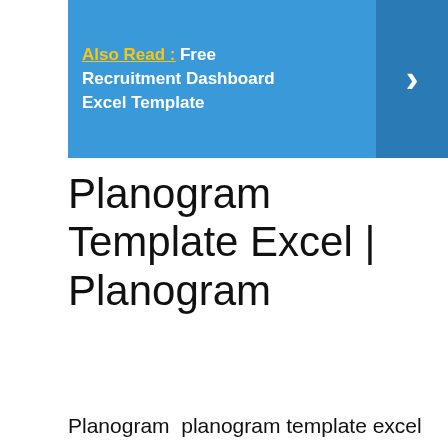[Figure (infographic): Blue banner with 'Also Read: Free Recruitment Dashboard Excel Template' text in white and yellow, with a right-arrow chevron on a darker blue background on the right side.]
Planogram Template Excel | Planogram
Planogram  planogram template excel